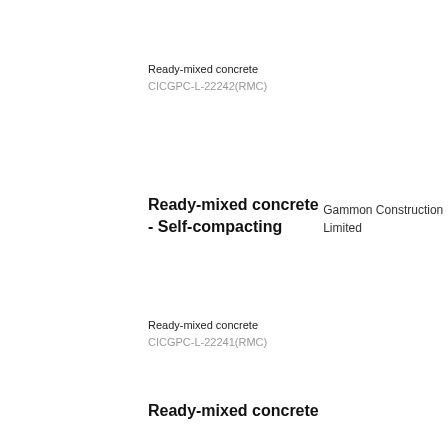Ready-mixed concrete
CICGPC-L-22242(RMC)
Ready-mixed concrete - Self-compacting
Gammon Construction Limited
Ready-mixed concrete
CICGPC-L-22241(RMC)
Ready-mixed concrete - Self-compacting